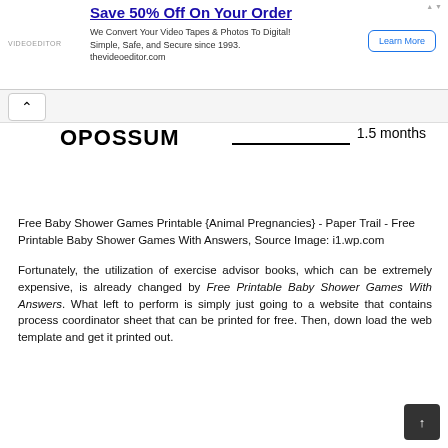[Figure (screenshot): Advertisement banner: 'Save 50% Off On Your Order' from thevideoeditor.com with Learn More button]
OPOSSUM _________ 1.5 months
Free Baby Shower Games Printable {Animal Pregnancies} - Paper Trail - Free Printable Baby Shower Games With Answers, Source Image: i1.wp.com
Fortunately, the utilization of exercise advisor books, which can be extremely expensive, is already changed by Free Printable Baby Shower Games With Answers. What left to perform is simply just going to a website that contains process coordinator sheet that can be printed for free. Then, down load the web template and get it printed out.